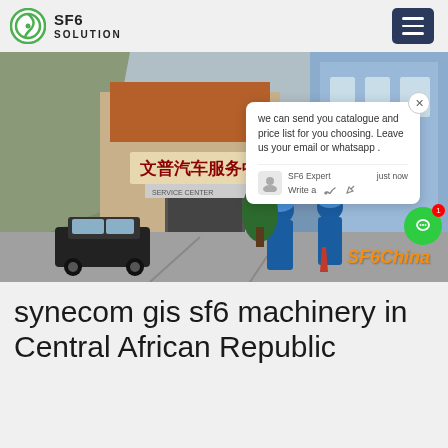SF6 SOLUTION
[Figure (photo): Two workers in blue uniforms and hard hats walking into an industrial facility entrance, with Chinese characters on a sign above the gate. A black car is parked to the left. A chat popup overlay with text 'we can send you catalogue and price list for you choosing. Leave us your email or whatsapp .' is visible on the right side. SF6China watermark in orange at bottom right.]
synecom gis sf6 machinery in Central African Republic